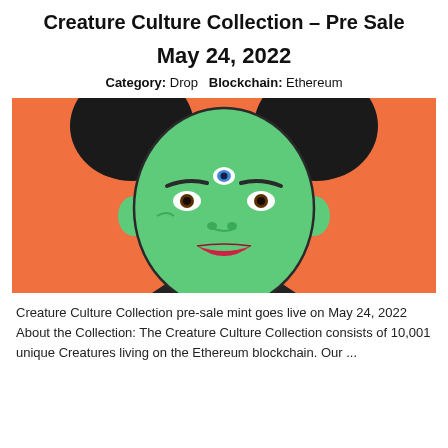Creature Culture Collection – Pre Sale
May 24, 2022
Category: Drop   Blockchain: Ethereum
[Figure (illustration): Digital illustration of a green-skinned female creature character with a third eye on her forehead, two afro puff hairstyles, red lips, wearing a dark collar, on an orange background.]
Creature Culture Collection pre-sale mint goes live on May 24, 2022 About the Collection: The Creature Culture Collection consists of 10,001 unique Creatures living on the Ethereum blockchain. Our ...